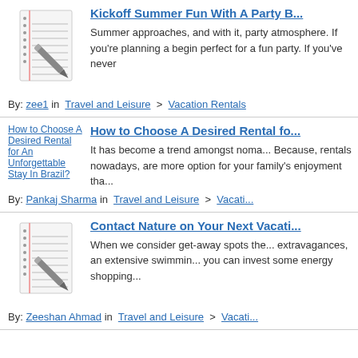[Figure (illustration): Notepad with pen icon - thumbnail for article 1]
Kickoff Summer Fun With A Party B...
Summer approaches, and with it, party atmosphere. If you're planning a beginning perfect for a fun party. If you've never...
By: zee1 in  Travel and Leisure  >  Vacation Rentals
[Figure (illustration): Broken image placeholder for 'How to Choose A Desired Rental for An Unforgettable Stay In Brazil?']
How to Choose A Desired Rental fo...
It has become a trend amongst nomad... Because, rentals nowadays, are more... option for your family's enjoyment tha...
By: Pankaj Sharma in  Travel and Leisure  >  Vacatio...
[Figure (illustration): Notepad with pen icon - thumbnail for article 3]
Contact Nature on Your Next Vacati...
When we consider get-away spots the... extravagances, an extensive swimmin... you can invest some energy shopping...
By: Zeeshan Ahmad in  Travel and Leisure  >  Vacati...